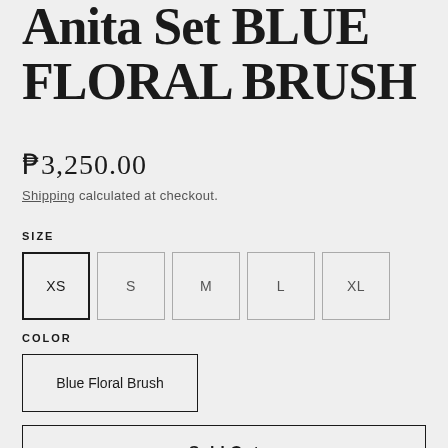Anita Set BLUE FLORAL BRUSH
₱3,250.00
Shipping calculated at checkout.
SIZE
XS
S
M
L
XL
COLOR
Blue Floral Brush
Sold Out